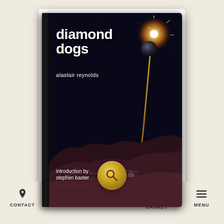[Figure (photo): Book cover of 'Diamond Dogs' by Alastair Reynolds, showing a dark space scene with planetary terrain, a tether or space elevator, a bright star/sun burst, and the text 'introduction by stephen baxter'. The book is displayed with a white border and drop shadow against a cream background.]
[Figure (photo): Two small thumbnail book covers shown below the main book: left thumbnail is 'Diamond Dogs' by Alastair Reynolds (dark space cover), right thumbnail appears to be another book with a green nature/plant cover.]
[Figure (other): Gold circular search button with magnifying glass icon, centered over the thumbnails.]
CONTACT   ACCOUNT   BASKET   MENU